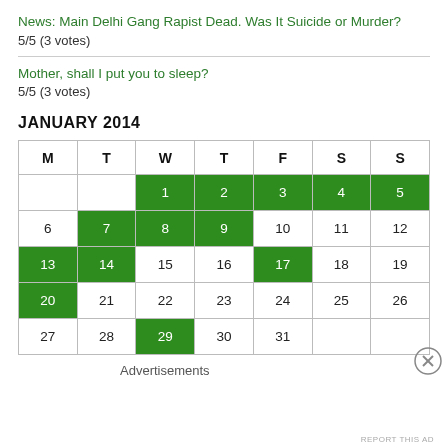News: Main Delhi Gang Rapist Dead. Was It Suicide or Murder?
5/5 (3 votes)
Mother, shall I put you to sleep?
5/5 (3 votes)
JANUARY 2014
| M | T | W | T | F | S | S |
| --- | --- | --- | --- | --- | --- | --- |
|  |  | 1 | 2 | 3 | 4 | 5 |
| 6 | 7 | 8 | 9 | 10 | 11 | 12 |
| 13 | 14 | 15 | 16 | 17 | 18 | 19 |
| 20 | 21 | 22 | 23 | 24 | 25 | 26 |
| 27 | 28 | 29 | 30 | 31 |  |  |
Advertisements